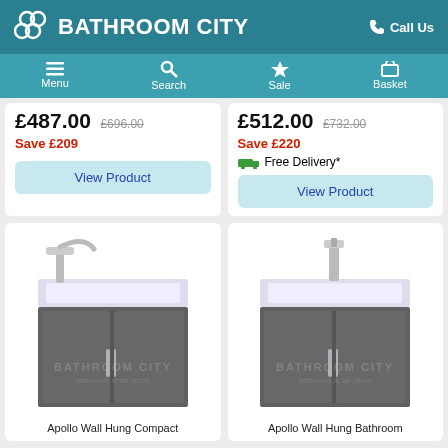BATHROOM CITY | Call Us
Menu | Search | Sale | Basket
£487.00  £696.00
Save £209
£512.00  £732.00
Save £220
Free Delivery*
View Product
View Product
[Figure (photo): Apollo Wall Hung Compact bathroom vanity unit in dark grey with chrome tap and basin]
[Figure (photo): Apollo Wall Hung Bathroom vanity unit in dark grey with chrome tap and basin]
Apollo Wall Hung Compact
Apollo Wall Hung Bathroom